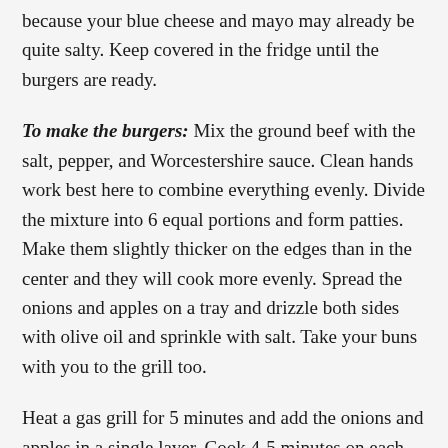because your blue cheese and mayo may already be quite salty. Keep covered in the fridge until the burgers are ready.
To make the burgers: Mix the ground beef with the salt, pepper, and Worcestershire sauce. Clean hands work best here to combine everything evenly. Divide the mixture into 6 equal portions and form patties. Make them slightly thicker on the edges than in the center and they will cook more evenly. Spread the onions and apples on a tray and drizzle both sides with olive oil and sprinkle with salt. Take your buns with you to the grill too.
Heat a gas grill for 5 minutes and add the onions and apples in a single layer. Cook 4-5 minutes on each side or until desired char is reached. Remove